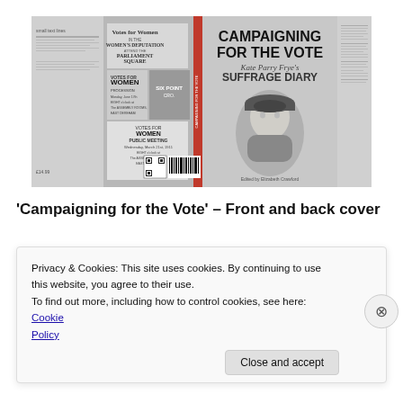[Figure (photo): Book cover spread for 'Campaigning for the Vote: Kate Parry Frye's Suffrage Diary'. Shows front and back cover with suffrage imagery, including posters for Women's Procession and Parliament Square, and a portrait of Kate Parry Frye.]
'Campaigning for the Vote' – Front and back cover
Privacy & Cookies: This site uses cookies. By continuing to use this website, you agree to their use.
To find out more, including how to control cookies, see here: Cookie Policy